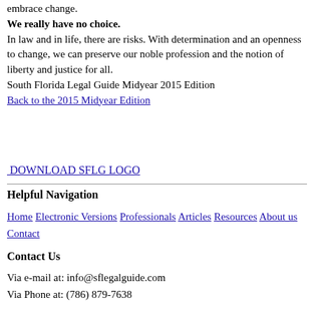embrace change.
We really have no choice.
In law and in life, there are risks. With determination and an openness to change, we can preserve our noble profession and the notion of liberty and justice for all.
South Florida Legal Guide Midyear 2015 Edition
Back to the 2015 Midyear Edition
DOWNLOAD SFLG LOGO
Helpful Navigation
Home Electronic Versions Professionals Articles Resources About us Contact
Contact Us
Via e-mail at: info@sflegalguide.com
Via Phone at: (786) 879-7638